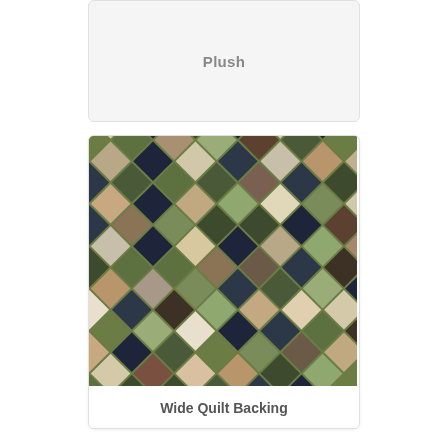Plush
[Figure (photo): A quilt fabric with a diamond/argyle pattern featuring a variety of earth tones including greens, browns, tans, navy, and cream arranged in a diagonal grid pattern]
Wide Quilt Backing